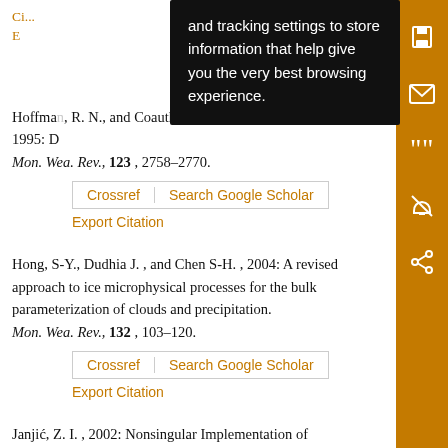Hoffmann, R. N., and Coauthors, 1995: Disturbances from an Optimal System—Mon. Wea. Rev., 123, 2758–2770.
Crossref | Search Google Scholar
Export Citation
Hong, S-Y., Dudhia J. , and Chen S-H. , 2004: A revised approach to ice microphysical processes for the bulk parameterization of clouds and precipitation. Mon. Wea. Rev., 132 , 103–120.
Crossref | Search Google Scholar
Export Citation
Janjić, Z. I. , 2002: Nonsingular Implementation of